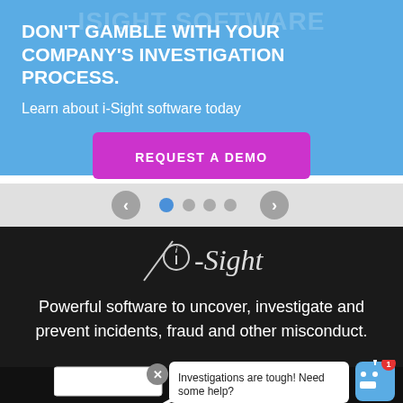DON'T GAMBLE WITH YOUR COMPANY'S INVESTIGATION PROCESS.
Learn about i-Sight software today
[Figure (screenshot): Pink/magenta button with text REQUEST A DEMO]
[Figure (screenshot): Carousel navigation with left arrow, one active blue dot, three grey dots, and right arrow]
[Figure (logo): i-Sight logo in white italic on dark background with stylized diagonal slash]
Powerful software to uncover, investigate and prevent incidents, fraud and other misconduct.
[Figure (screenshot): Chat widget with close button, white input box, speech bubble saying 'Investigations are tough! Need some help?', and blue robot avatar with red badge showing 1]